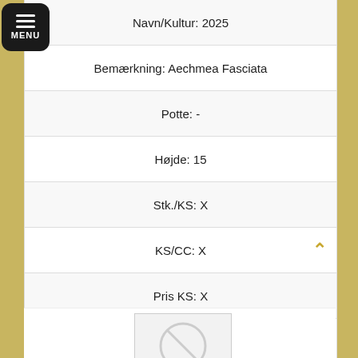Navn/Kultur: 2025
Bemærkning: Aechmea Fasciata
Potte: -
Højde: 15
Stk./KS: X
KS/CC: X
Pris KS: X
Pris CC: Login her for køb
Varenummer:
[Figure (other): No image placeholder box with a crossed-out circle icon and 'No image' text]